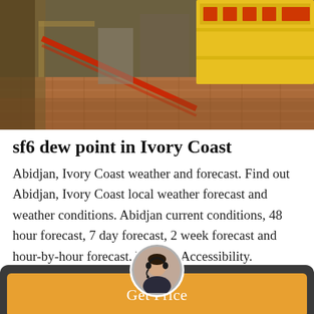[Figure (photo): Outdoor photo showing yellow industrial trucks or containers on a brick/cobblestone surface, with a red barrier or pipe visible in the foreground.]
sf6 dew point in Ivory Coast
Abidjan, Ivory Coast weather and forecast. Find out Abidjan, Ivory Coast local weather forecast and weather conditions. Abidjan current conditions, 48 hour forecast, 7 day forecast, 2 week forecast and hour-by-hour forecast. Website Accessibility.
Get Price
Leave Message
Chat Online